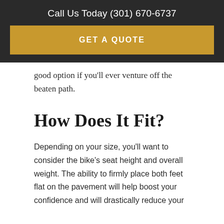Call Us Today (301) 670-6737
GET A QUOTE
good option if you'll ever venture off the beaten path.
How Does It Fit?
Depending on your size, you'll want to consider the bike's seat height and overall weight. The ability to firmly place both feet flat on the pavement will help boost your confidence and will drastically reduce your